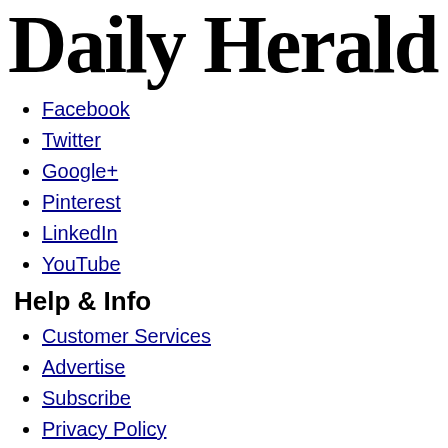Daily Herald
Facebook
Twitter
Google+
Pinterest
LinkedIn
YouTube
Help & Info
Customer Services
Advertise
Subscribe
Privacy Policy
Terms of Service
About Us
Daily Herald Events
Daily Herald Media Group News
Jobs at Daily Herald
Newsletters